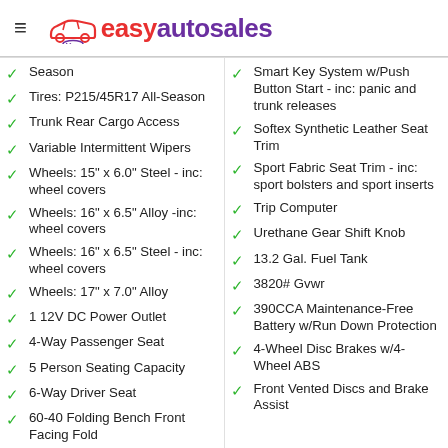easyautosales
Season
Tires: P215/45R17 All-Season
Trunk Rear Cargo Access
Variable Intermittent Wipers
Wheels: 15" x 6.0" Steel - inc: wheel covers
Wheels: 16" x 6.5" Alloy -inc: wheel covers
Wheels: 16" x 6.5" Steel - inc: wheel covers
Wheels: 17" x 7.0" Alloy
1 12V DC Power Outlet
4-Way Passenger Seat
5 Person Seating Capacity
6-Way Driver Seat
60-40 Folding Bench Front Facing Fold
Smart Key System w/Push Button Start - inc: panic and trunk releases
Softex Synthetic Leather Seat Trim
Sport Fabric Seat Trim - inc: sport bolsters and sport inserts
Trip Computer
Urethane Gear Shift Knob
13.2 Gal. Fuel Tank
3820# Gvwr
390CCA Maintenance-Free Battery w/Run Down Protection
4-Wheel Disc Brakes w/4-Wheel ABS
Front Vented Discs and Brake Assist